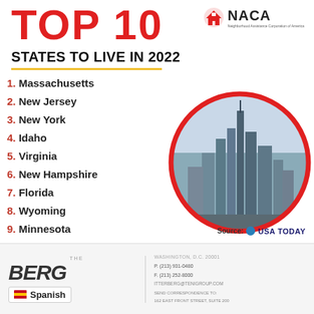TOP 10
[Figure (logo): NACA logo with house icon and text 'Neighborhood Assistance Corporation of America']
STATES TO LIVE IN 2022
1. Massachusetts
2. New Jersey
3. New York
4. Idaho
5. Virginia
6. New Hampshire
7. Florida
8. Wyoming
9. Minnesota
10. Wisconsin
[Figure (photo): Aerial cityscape photo of a major US city with tall skyscrapers, shown inside a circular red-bordered frame]
Source: USA TODAY
THE [publication name] | Spanish flag icon | Spanish | P. (213) 931-0480 F. (213) 252-8000 | SEND CORRESPONDENCE TO: 162 East Front Street, Suite 200